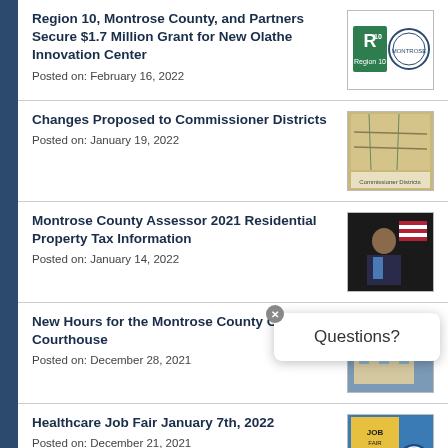Region 10, Montrose County, and Partners Secure $1.7 Million Grant for New Olathe Innovation Center
Posted on: February 16, 2022
Changes Proposed to Commissioner Districts
Posted on: January 19, 2022
Montrose County Assessor 2021 Residential Property Tax Information
Posted on: January 14, 2022
New Hours for the Montrose County Old Courthouse
Posted on: December 28, 2021
Healthcare Job Fair January 7th, 2022
Posted on: December 21, 2021